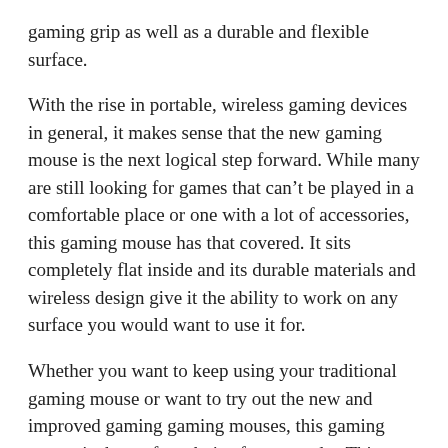gaming grip as well as a durable and flexible surface.
With the rise in portable, wireless gaming devices in general, it makes sense that the new gaming mouse is the next logical step forward. While many are still looking for games that can't be played in a comfortable place or one with a lot of accessories, this gaming mouse has that covered. It sits completely flat inside and its durable materials and wireless design give it the ability to work on any surface you would want to use it for.
Whether you want to keep using your traditional gaming mouse or want to try out the new and improved gaming gaming mouses, this gaming mouse is the perfect choice for you today.This new gaming mouse is also very comfortable on your hand. Its dual-stick design and light weight make it stable at the slightest change of height. This gaming mouse comes with a dual-button design instead of a separate